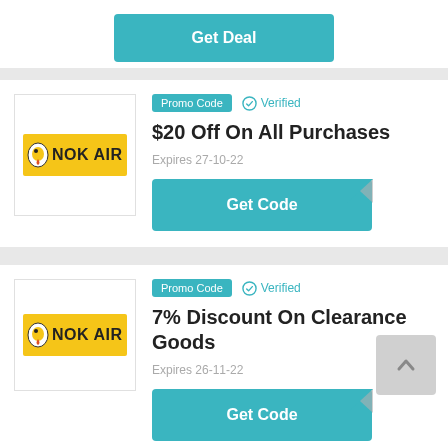[Figure (other): Get Deal button (teal) at top of page, partially cropped]
[Figure (logo): Nok Air logo - yellow background with bird icon and NOK AIR text]
Promo Code
Verified
$20 Off On All Purchases
Expires 27-10-22
[Figure (other): Get Code button with folded corner effect (teal)]
[Figure (logo): Nok Air logo - yellow background with bird icon and NOK AIR text]
Promo Code
Verified
7% Discount On Clearance Goods
Expires 26-11-22
[Figure (other): Get Code button with folded corner effect (teal)]